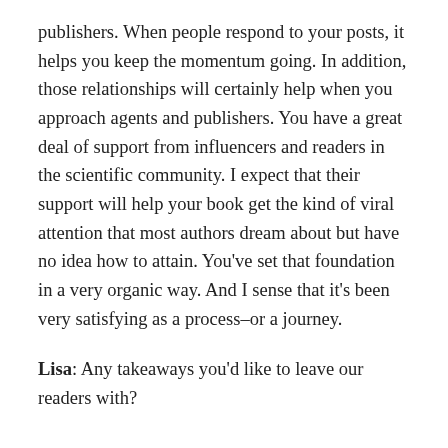publishers. When people respond to your posts, it helps you keep the momentum going. In addition, those relationships will certainly help when you approach agents and publishers. You have a great deal of support from influencers and readers in the scientific community. I expect that their support will help your book get the kind of viral attention that most authors dream about but have no idea how to attain. You've set that foundation in a very organic way. And I sense that it's been very satisfying as a process–or a journey.
Lisa: Any takeaways you'd like to leave our readers with?